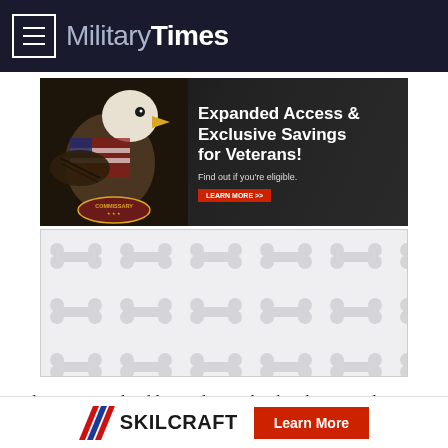MilitaryTimes
[Figure (infographic): Commissary advertisement banner: bald eagle with American flag, text 'Expanded Access & Exclusive Savings for Veterans! Find out if you're eligible. LEARN MORE >>']
[Figure (other): Advertisement placeholder with repeating bone/paw print pattern on light gray background]
The program should ease the need to hand-carry military health records or lab results between health care providers participating in the program.
SKILCRAFT Learn More